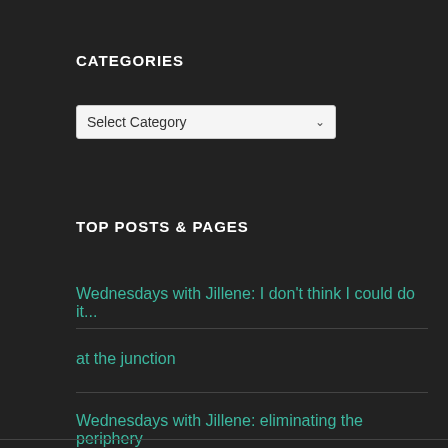CATEGORIES
[Figure (screenshot): A dropdown select box labeled 'Select Category' with a chevron arrow on the right]
TOP POSTS & PAGES
Wednesdays with Jillene: I don't think I could do it...
at the junction
Wednesdays with Jillene: eliminating the periphery